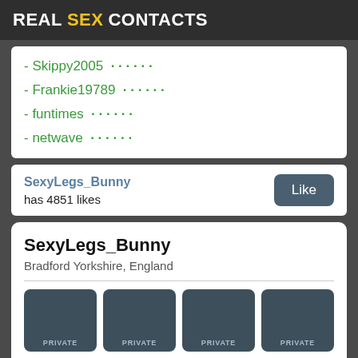REAL SEX CONTACTS
- Skippy2005 · · · · · ·
- Frankie19789 · · · · · ·
- funtimes · · · · · ·
- netwave · · · · · ·
SexyLegs_Bunny
has 4851 likes
SexyLegs_Bunny
Bradford Yorkshire, England
[Figure (photo): Grid of 8 private photo thumbnails, all showing dark blue-grey placeholder boxes labeled PRIVATE]